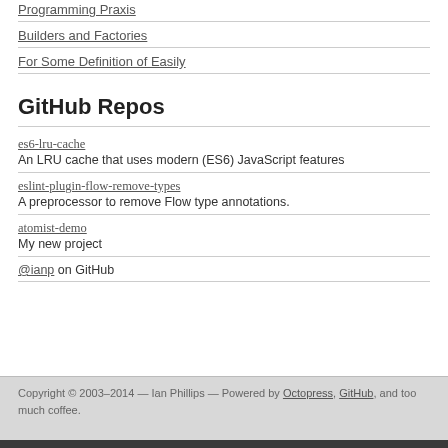Programming Praxis
Builders and Factories
For Some Definition of Easily
GitHub Repos
es6-lru-cache
An LRU cache that uses modern (ES6) JavaScript features
eslint-plugin-flow-remove-types
A preprocessor to remove Flow type annotations.
atomist-demo
My new project
@ianp on GitHub
Copyright © 2003–2014 — Ian Phillips — Powered by Octopress, GitHub, and too much coffee.